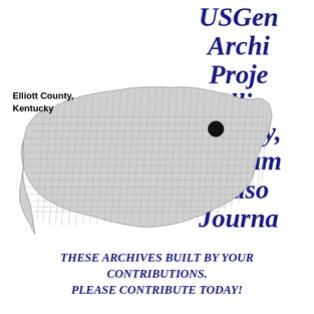USGenArchives Project Elliott County, Williams Masonic Journal
[Figure (map): Map of Kentucky with counties outlined, Elliott County highlighted in black in the northeastern region]
Elliott County, Kentucky
THESE ARCHIVES BUILT BY YOUR CONTRIBUTIONS. PLEASE CONTRIBUTE TODAY!